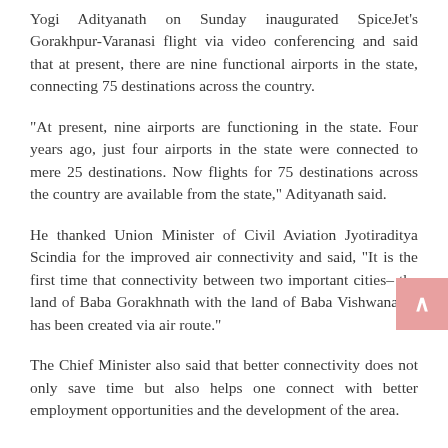Yogi Adityanath on Sunday inaugurated SpiceJet's Gorakhpur-Varanasi flight via video conferencing and said that at present, there are nine functional airports in the state, connecting 75 destinations across the country.
“At present, nine airports are functioning in the state. Four years ago, just four airports in the state were connected to mere 25 destinations. Now flights for 75 destinations across the country are available from the state,” Adityanath said.
He thanked Union Minister of Civil Aviation Jyotiraditya Scindia for the improved air connectivity and said, “It is the first time that connectivity between two important cities– the land of Baba Gorakhnath with the land of Baba Vishwanath– has been created via air route.”
The Chief Minister also said that better connectivity does not only save time but also helps one connect with better employment opportunities and the development of the area.